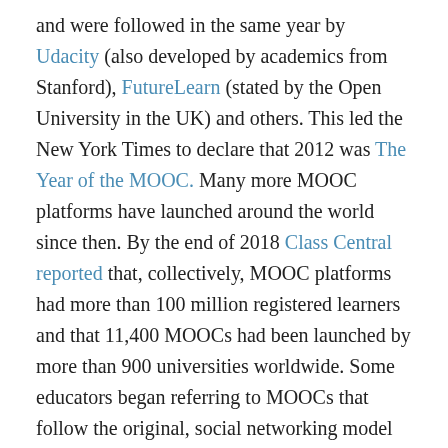and were followed in the same year by Udacity (also developed by academics from Stanford), FutureLearn (stated by the Open University in the UK) and others. This led the New York Times to declare that 2012 was The Year of the MOOC. Many more MOOC platforms have launched around the world since then. By the end of 2018 Class Central reported that, collectively, MOOC platforms had more than 100 million registered learners and that 11,400 MOOCs had been launched by more than 900 universities worldwide. Some educators began referring to MOOCs that follow the original, social networking model as cMOOCs (after Connectivism), and the private platform model as xMOOCs (after edX and similar platforms). These two types of open courses are very different both in their underlying philosophy and their practice, as Tony Bates explained in 2014.